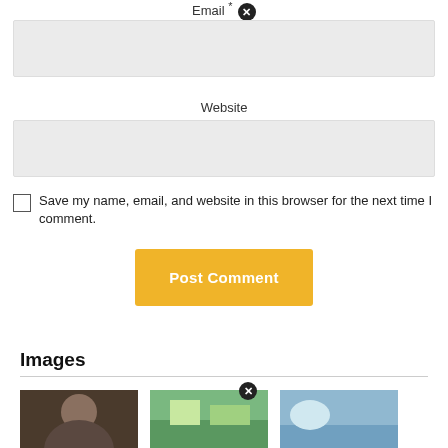Email *
Website
Save my name, email, and website in this browser for the next time I comment.
Post Comment
Images